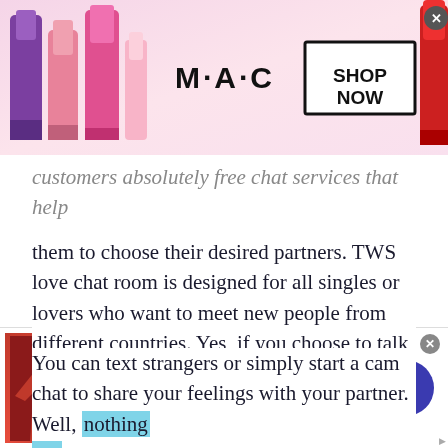[Figure (photo): MAC cosmetics advertisement banner with lipsticks on left side in purple, pink, and magenta colors, MAC logo in center, SHOP NOW box on right, and a red lipstick on far right]
customers absolutely free chat services that help them to choose their desired partners. TWS love chat room is designed for all singles or lovers who want to meet new people from different countries. Yes, if you choose to talk to Ecuadorns, Indians, Canadians, Germans, hot girls and handsome boys, you are all set to start a free chat now.
You can text strangers or simply start a cam chat to share your feelings with your partner. Well, nothing is more convenient than choosing a cam chat and
[Figure (photo): Fanatics advertisement banner: image of sporting apparel on left, text 'Fanatics isn't just our name.' in blue, 'dedicated to our favorite teams and to the sports we love.' and 'www.fanatics.com' below, with a blue circular arrow button on the right]